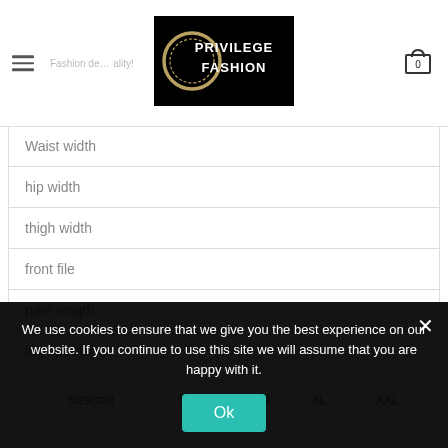Fashion de... ality! | Privilege Fashion | 0
Waist width
hip width
thigh width
front file
pant length
leg opening
| Size(cm) | S | M | L | XL | XXL |
| --- | --- | --- | --- | --- | --- |
We use cookies to ensure that we give you the best experience on our website. If you continue to use this site we will assume that you are happy with it.